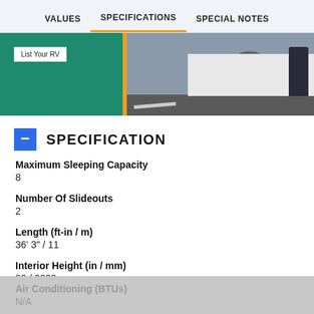VALUES   SPECIFICATIONS   SPECIAL NOTES
[Figure (photo): Partial screenshot of an RV listing website banner. Shows a 'List Your RV' button on a teal/green background on the left, and a photo of an RV with a person standing beside it on the right.]
SPECIFICATION
Maximum Sleeping Capacity
8
Number Of Slideouts
2
Length (ft-in / m)
36' 3" / 11
Interior Height (in / mm)
80 / 2032
Air Conditioning (BTUs)
N/A